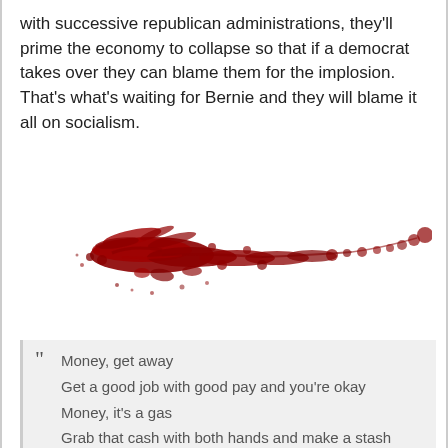with successive republican administrations, they'll prime the economy to collapse so that if a democrat takes over they can blame them for the implosion. That's what's waiting for Bernie and they will blame it all on socialism.
[Figure (illustration): A red ink splatter or blood splatter graphic forming a roughly horizontal streak across the page, with scattered dots and drips extending upward to the right.]
Money, get away
Get a good job with good pay and you're okay
Money, it's a gas
Grab that cash with both hands and make a stash
New car, caviar, four star daydream
Think I'll buy me a football team
Money, get back
I'm all right Jack keep your hands off of my stack
Money, it's a bit